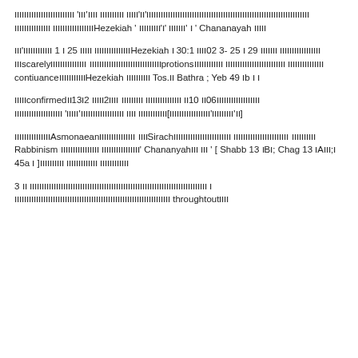Hebrew/Aramaic text mixed with: Hezekiah ' ו 'Hebrew 'ו'Hebrew ' Chananayah Hebrew
Hebrew text 25 ו 1 Hebrew'וHezekiah Hebrew 29 ו 25 -3 02וו 30:1 ו ווscarely Hebrew protionsHebrew Hebrew contiuance Hebrew Hezekiah Hebrew Tos.וו Bathra ; Yeb ו 49b ו ו
וווווconfirmedווווווווווווו06וו 10וו וווווווווווו וווווו וו2וווווו 2ו13וו [וו'ווווווווו'וווווווווווווווווו]וווווווווווווו וווו וווווווווווווווווו'ווווו' וווווווווווווווווווווו
וווווווווווווווAsmonaeanוווו ווווווווווווווSirachוווווווווו וווווווווווווווווווווווו ווווווווווווווווווווווווו Rabbinism וווווווווווווווווו ווווווווווווווווו' Chananyahווו ווו ' [ Shabb ו 13Bו; Chag ו 13Aו;ווו 45a ו ]וווווווווווו ווווווווווווו וווווווווווו
3 ו וווווווווווווווווווווווווווווווווווווווווווווווווווווווווווווווווווווו וו וווווווווווווווווווווווווווווווווווווווווווווווווווווווווווווווו throughtoutוווו